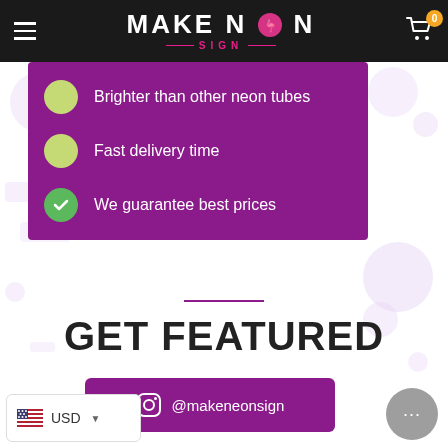Make Neon Sign — navigation header with logo, hamburger menu, and cart (0 items)
Brighter than other neon tubes
Fast delivery time
We guarantee best prices
GET FEATURED
@makeneonsign
USD
[Figure (screenshot): Instagram handle button for @makeneonsign on purple background]
[Figure (other): USD currency selector with US flag and dropdown arrow]
[Figure (other): Grey chat support button with ellipsis]